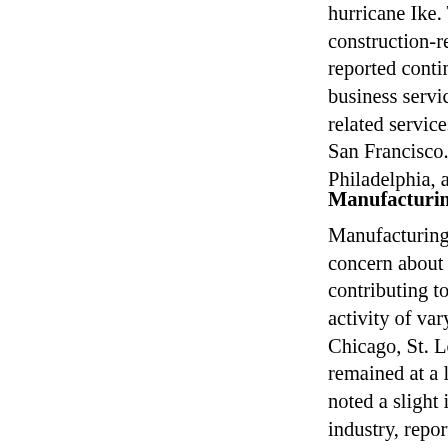hurricane Ike. Trucking contacts in Atlanta indicated decreases in construction-related shipments, but increases in e... reported continued strength in professional business services... business services was down in San Francisco and... related services was strong in Boston, Richmond... San Francisco. Staffing firms reported lower demand in Philadelphia, and Chicago, but noted steady demand...
Manufacturing
Manufacturing activity moved lower in most Districts amid concern about the economic outlook. Several Districts noted contributing to a high level of uncertainty on the... activity of varying degrees were reported in Boston, Chicago, St. Louis, Kansas City, San Francisco, and... remained at a low level, while Minneapolis described... noted a slight increase in activity. Metals-related industry, reported slower activity, although overall... several Districts. Producers of housing-related items... equipment continued to experience low levels of... in the automotive industry also continued to decline... and Chicago reported continued strength in export orders, reversing a trend of the past several... heavy equipment manufacturers with ties to energy... most Districts. Dallas and Atlanta reported that heavy production and refining, restricting the supply of...